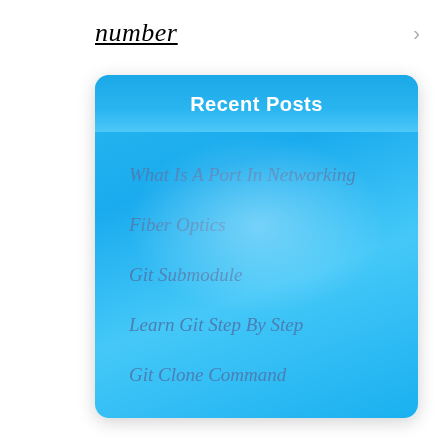number
Recent Posts
What Is A Port In Networking
Fiber Optics
Git Submodule
Learn Git Step By Step
Git Clone Command